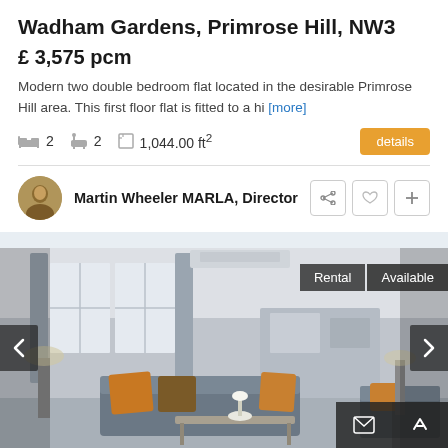Wadham Gardens, Primrose Hill, NW3
£ 3,575 pcm
Modern two double bedroom flat located in the desirable Primrose Hill area. This first floor flat is fitted to a hi [more]
2 bedrooms  2 bathrooms  1,044.00 ft²
Martin Wheeler MARLA, Director
[Figure (photo): Interior photo of a modern living room with grey sofa, orange/gold cushions, white flowers on coffee table, large windows with curtains, and open kitchen in background. Overlaid with 'Rental' and 'Available' badges and navigation arrows.]